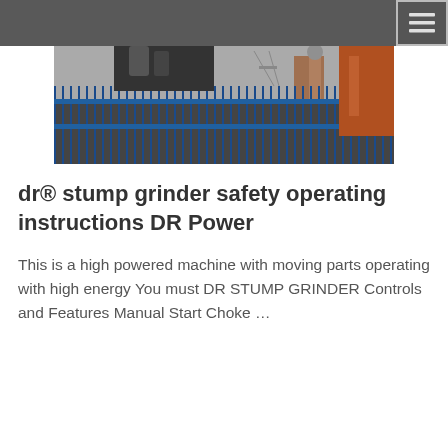[Figure (photo): Industrial machinery behind a blue metal fence/barrier, with large industrial equipment and structures visible in the background. The image is in grayscale/dark tones.]
dr® stump grinder safety operating instructions DR Power
This is a high powered machine with moving parts operating with high energy You must DR STUMP GRINDER Controls and Features Manual Start Choke …